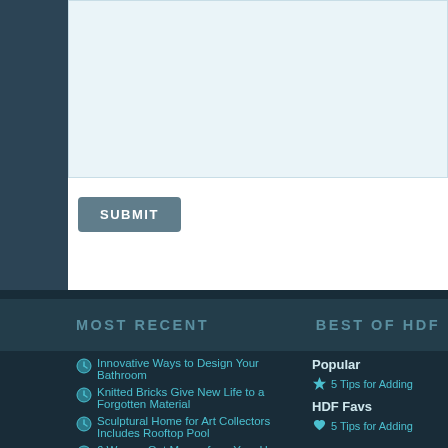[Figure (screenshot): Text area input field with light blue background]
SUBMIT
« Edge House by Mobius Architects: cutting edge contemporary architecture
Blairgowrie Court Re
MOST RECENT
BEST OF HDF
Innovative Ways to Design Your Bathroom
Knitted Bricks Give New Life to a Forgotten Material
Sculptural Home for Art Collectors Includes Rooftop Pool
6 Ways a Get Money from Your Home Without Selling
Perfect Proportions Define a Pleasing Desert Home
Popular
5 Tips for Adding
HDF Favs
5 Tips for Adding